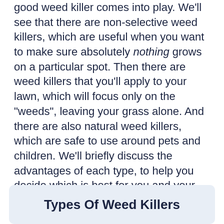good weed killer comes into play. We'll see that there are non-selective weed killers, which are useful when you want to make sure absolutely nothing grows on a particular spot. Then there are weed killers that you'll apply to your lawn, which will focus only on the "weeds", leaving your grass alone. And there are also natural weed killers, which are safe to use around pets and children. We'll briefly discuss the advantages of each type, to help you decide which is best for you and your backyard!
Types Of Weed Killers